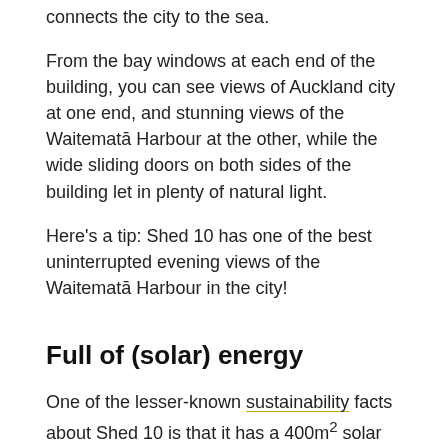connects the city to the sea.
From the bay windows at each end of the building, you can see views of Auckland city at one end, and stunning views of the Waitematā Harbour at the other, while the wide sliding doors on both sides of the building let in plenty of natural light.
Here's a tip: Shed 10 has one of the best uninterrupted evening views of the Waitematā Harbour in the city!
Full of (solar) energy
One of the lesser-known sustainability facts about Shed 10 is that it has a 400m² solar panel system on its roof that generates enough renewable